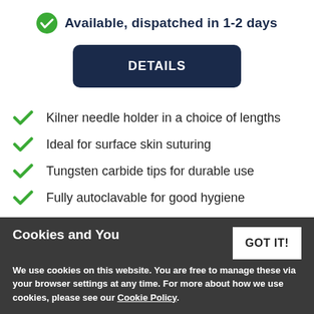Available, dispatched in 1-2 days
DETAILS
Kilner needle holder in a choice of lengths
Ideal for surface skin suturing
Tungsten carbide tips for durable use
Fully autoclavable for good hygiene
Cookies and You
GOT IT!
We use cookies on this website. You are free to manage these via your browser settings at any time. For more about how we use cookies, please see our Cookie Policy.